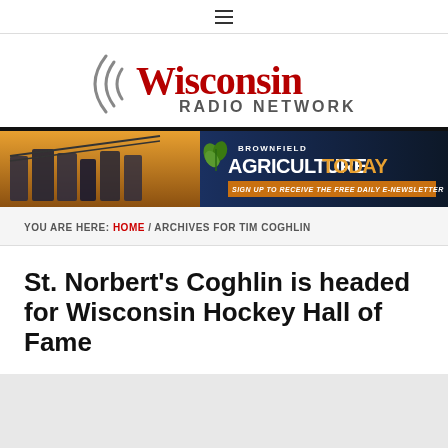≡ (hamburger menu)
[Figure (logo): Wisconsin Radio Network logo with radio wave arcs and red serif Wisconsin text above gray RADIO NETWORK text]
[Figure (infographic): Brownfield Agriculture Today advertisement banner with grain silos and sign up to receive the free daily e-newsletter]
YOU ARE HERE: HOME / ARCHIVES FOR TIM COGHLIN
St. Norbert's Coghlin is headed for Wisconsin Hockey Hall of Fame